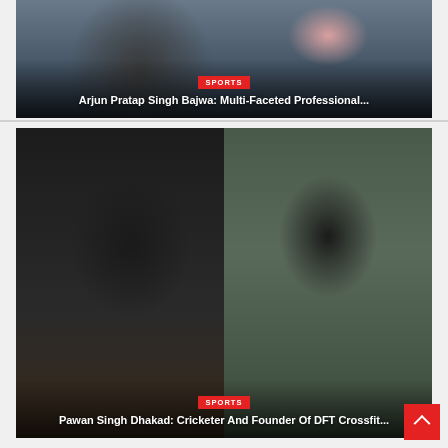[Figure (photo): Photo card of Arjun Pratap Singh Bajwa with SPORTS tag label and article title overlay]
Arjun Pratap Singh Bajwa: Multi-Faceted Professional...
[Figure (photo): Photo card with two side-by-side portraits, SPORTS tag label and article title overlay for Pawan Singh Dhakad]
Pawan Singh Dhakad: Cricketer And Founder Of DFT Crossfit...